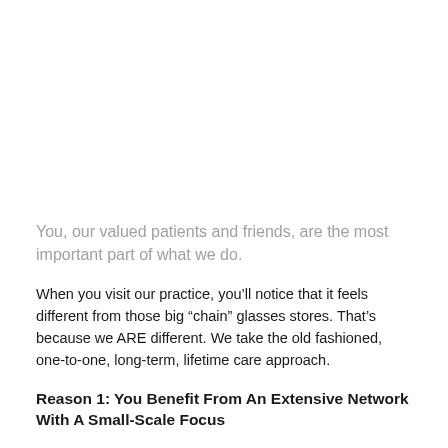You, our valued patients and friends, are the most important part of what we do.
When you visit our practice, you'll notice that it feels different from those big “chain” glasses stores. That’s because we ARE different. We take the old fashioned, one-to-one, long-term, lifetime care approach.
Reason 1: You Benefit From An Extensive Network With A Small-Scale Focus